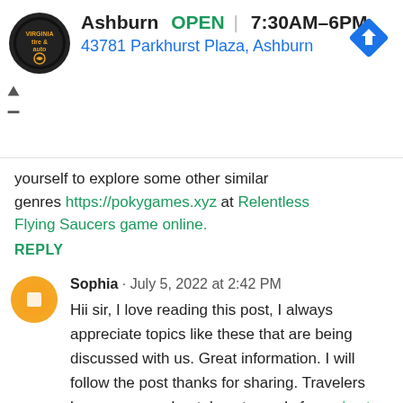[Figure (other): Advertisement banner for Ashburn tire & auto shop showing logo, OPEN status, hours 7:30AM-6PM, address 43781 Parkhurst Plaza Ashburn, and a blue navigation diamond icon]
yourself to explore some other similar genres https://pokygames.xyz at Relentless Flying Saucers game online.
REPLY
Sophia · July 5, 2022 at 2:42 PM
Hii sir, I love reading this post, I always appreciate topics like these that are being discussed with us. Great information. I will follow the post thanks for sharing. Travelers have a query about: how to apply for a visa to Turkey? Now you can get a visa by 3 simple steps like filling an application form online, then making payment and receiving it in your email.